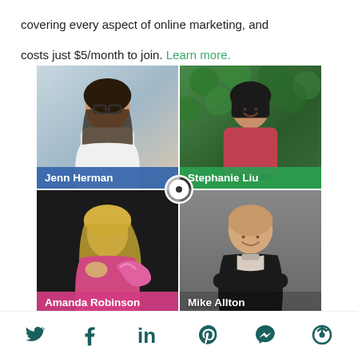covering every aspect of online marketing, and costs just $5/month to join. Learn more.
[Figure (photo): 2x2 collage of four social media experts: Jenn Herman (top-left, blue name bar), Stephanie Liu (top-right, green name bar), Amanda Robinson (bottom-left, pink name bar), Mike Allton (bottom-right, no color bar). A circular logo/icon is overlaid at the center intersection.]
Social share icons: Twitter, Facebook, LinkedIn, Pinterest, Messenger, recirculation